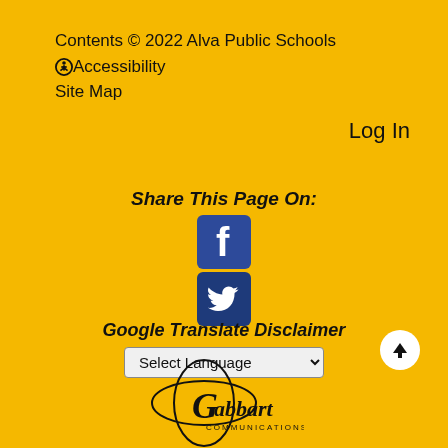Contents © 2022 Alva Public Schools
Accessibility
Site Map
Log In
Share This Page On:
[Figure (logo): Facebook icon - blue square with white f letter]
[Figure (logo): Twitter icon - dark blue square with white bird]
Google Translate Disclaimer
Select Language
[Figure (logo): Gabbart Communications logo with orbital ring design]